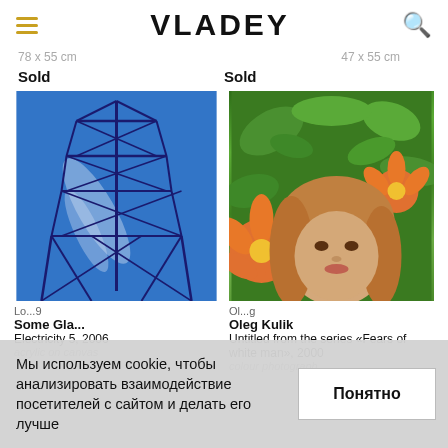VLADEY
78 x 55 cm    47 x 55 cm
Sold    Sold
[Figure (photo): Painting of electricity pylon/power tower in blue tones on canvas]
[Figure (photo): Photo of a girl smelling orange lilies among green foliage]
Lo...9
Some Gla...
Electricity 5, 2006
acrylic on canvas
Ol...g
Oleg Kulik
Untitled from the series «Fears of white man», 2000
colour photograph
Мы используем cookie, чтобы анализировать взаимодействие посетителей с сайтом и делать его лучше
Понятно